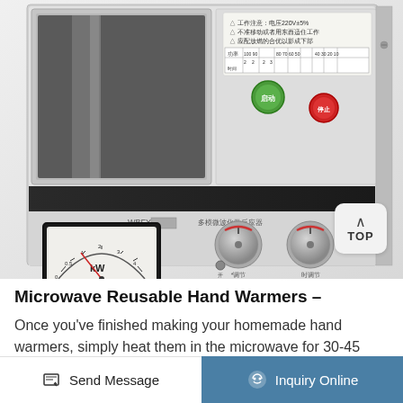[Figure (photo): Close-up photo of a microwave chemical reactor (WBFY brand) showing the front panel with a KW power meter gauge, two rotary control knobs, green and red indicator buttons, Chinese text labels, and a TOP button in the lower right corner.]
Microwave Reusable Hand Warmers -
Once you've finished making your homemade hand warmers, simply heat them in the microwave for 30-45 seconds. Contact Supplier.
Send Message   Inquiry Online